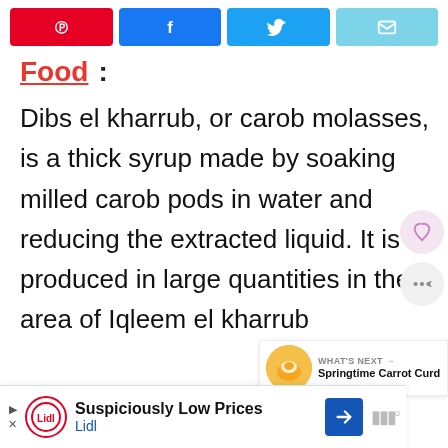[Figure (other): Social share buttons: Pinterest (red), Facebook (blue), Twitter (light blue), Email (cyan)]
Food:
Dibs el kharrub, or carob molasses, is a thick syrup made by soaking milled carob pods in water and reducing the extracted liquid. It is produced in large quantities in the area of Iqleem el kharrub
[Figure (other): What's Next card showing Springtime Carrot Curd with orange/egg image thumbnail]
[Figure (other): Advertisement banner: Suspiciously Low Prices - Lidl]